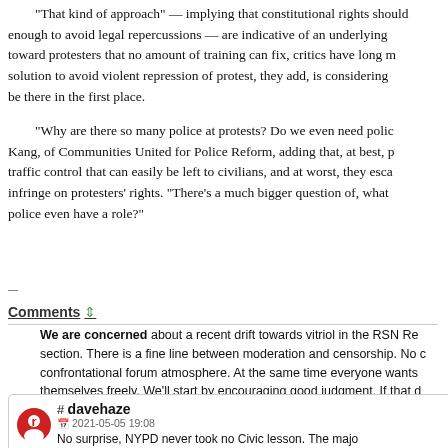"That kind of approach" — implying that constitutional rights should be enough to avoid legal repercussions — are indicative of an underlying toward protesters that no amount of training can fix, critics have long m solution to avoid violent repression of protest, they add, is considering be there in the first place.
"Why are there so many police at protests? Do we even need polic Kang, of Communities United for Police Reform, adding that, at best, p traffic control that can easily be left to civilians, and at worst, they esca infringe on protesters' rights. "There's a much bigger question of, what police even have a role?"
Comments
We are concerned about a recent drift towards vitriol in the RSN Re section. There is a fine line between moderation and censorship. No c confrontational forum atmosphere. At the same time everyone wants themselves freely. We'll start by encouraging good judgment. If that d have to ramp up the moderation.
General guidelines: Avoid personal attacks on other forum members are ethnically derogatory; Do not advocate violence, or any illegal ac
Remember that making the world better begins with responsible actio
# davehaze  2021-05-05 19:08
No surprise, NYPD never took no Civic lesson. The majo